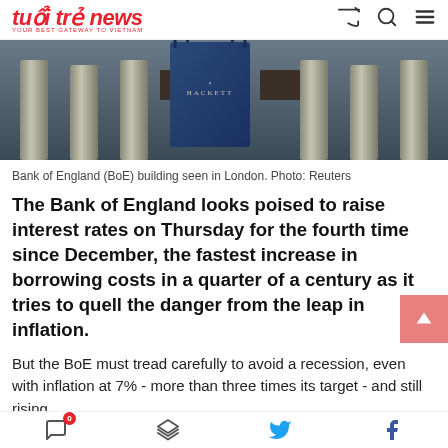tuổi trẻ news - YOUR BEST GATEWAY TO VIETNAM
[Figure (photo): Bank of England building facade with stone columns and a blue Hackett shopping bag hanging prominently in the center]
Bank of England (BoE) building seen in London. Photo: Reuters
The Bank of England looks poised to raise interest rates on Thursday for the fourth time since December, the fastest increase in borrowing costs in a quarter of a century as it tries to quell the danger from the leap in inflation.
But the BoE must tread carefully to avoid a recession, even with inflation at 7% - more than three times its target - and still rising.
Last month Governor Andrew Bailey said he and his
Social share icons: comments, layers, twitter, facebook